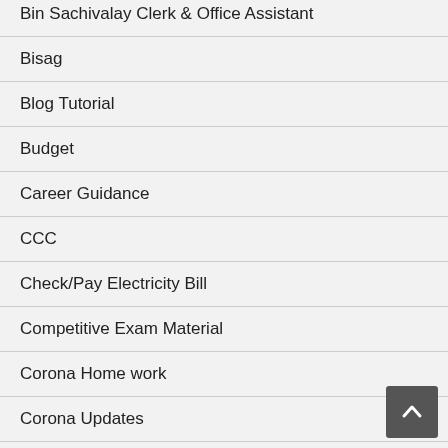Bin Sachivalay Clerk & Office Assistant
Bisag
Blog Tutorial
Budget
Career Guidance
CCC
Check/Pay Electricity Bill
Competitive Exam Material
Corona Home work
Corona Updates
Cricket Live